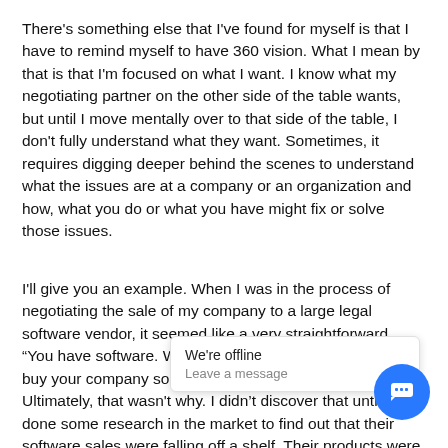There's something else that I've found for myself is that I have to remind myself to have 360 vision. What I mean by that is that I'm focused on what I want. I know what my negotiating partner on the other side of the table wants, but until I move mentally over to that side of the table, I don't fully understand what they want. Sometimes, it requires digging deeper behind the scenes to understand what the issues are at a company or an organization and how, what you do or what you have might fix or solve those issues.
I'll give you an example. When I was in the process of negotiating the sale of my company to a large legal software vendor, it seemed like a very straightforward, "You have software. We have software. We would like to buy your company so that we could offer more software." Ultimately, that wasn't why. I didn't discover that until I had done some research in the market to find out that their software sales were falling off a shelf. Their products were old. They didn't support them well. They were hoping they could buy their way into more [obscured] ha[obscured]
Once I understood that, [obscured] see [obscured]
perspective. It also gave me the perspective to use them instead